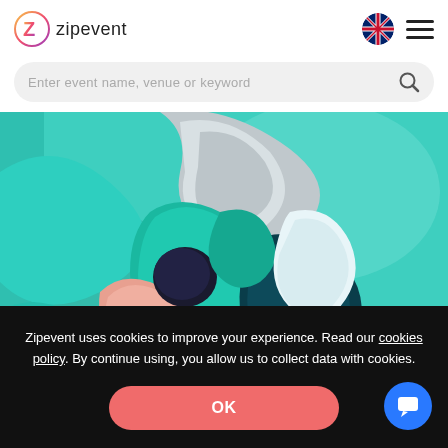[Figure (logo): Zipevent logo with stylized Z icon and text 'zipevent']
Enter event name, venue or keyword
[Figure (illustration): Abstract colorful painting with teal, gray, pink and dark figures intertwining]
Zipevent uses cookies to improve your experience. Read our cookies policy. By continue using, you allow us to collect data with cookies.
OK